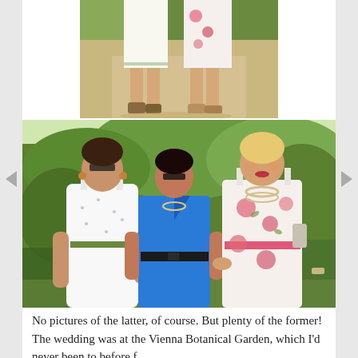[Figure (photo): Close-up photo of two women from the waist down, wearing summer dresses and sandals, standing on a path with greenery in the background.]
[Figure (photo): Three women posing together outdoors in a botanical garden. Left woman wears a white polka dot sundress with green belt; middle woman wears a blue dress with black belt; right woman wears a white floral dress with pink accents.]
No pictures of the latter, of course. But plenty of the former! The wedding was at the Vienna Botanical Garden, which I'd never been to before f